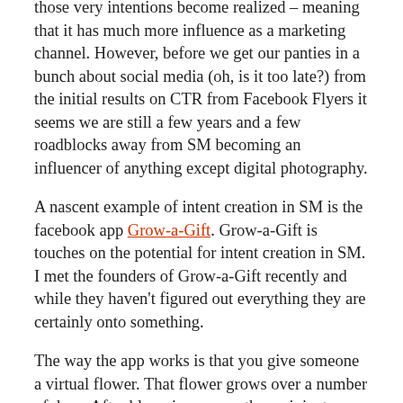those very intentions become realized – meaning that it has much more influence as a marketing channel. However, before we get our panties in a bunch about social media (oh, is it too late?) from the initial results on CTR from Facebook Flyers it seems we are still a few years and a few roadblocks away from SM becoming an influencer of anything except digital photography.
A nascent example of intent creation in SM is the facebook app Grow-a-Gift. Grow-a-Gift is touches on the potential for intent creation in SM. I met the founders of Grow-a-Gift recently and while they haven't figured out everything they are certainly onto something.
The way the app works is that you give someone a virtual flower. That flower grows over a number of days. After blooming you as the recipient can purchase a real flower that can be sent to the person that sent